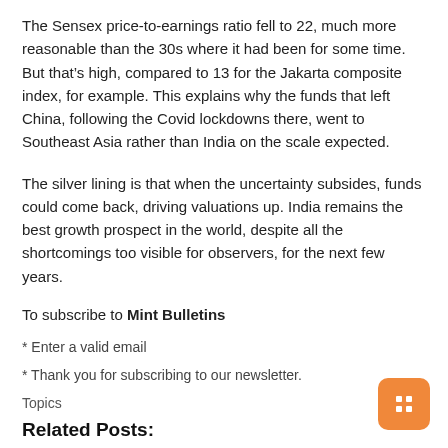The Sensex price-to-earnings ratio fell to 22, much more reasonable than the 30s where it had been for some time. But that's high, compared to 13 for the Jakarta composite index, for example. This explains why the funds that left China, following the Covid lockdowns there, went to Southeast Asia rather than India on the scale expected.
The silver lining is that when the uncertainty subsides, funds could come back, driving valuations up. India remains the best growth prospect in the world, despite all the shortcomings too visible for observers, for the next few years.
To subscribe to Mint Bulletins
* Enter a valid email
* Thank you for subscribing to our newsletter.
Topics
Related Posts: